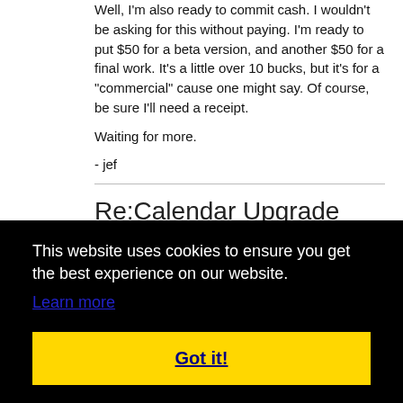Well, I'm also ready to commit cash. I wouldn't be asking for this without paying. I'm ready to put $50 for a beta version, and another $50 for a final work. It's a little over 10 bucks, but it's for a &quot;commercial&quot; cause one might say. Of course, be sure I'll need a receipt.

Waiting for more.

- jef
Re:Calendar Upgrade
This website uses cookies to ensure you get the best experience on our website.
Learn more
Got it!